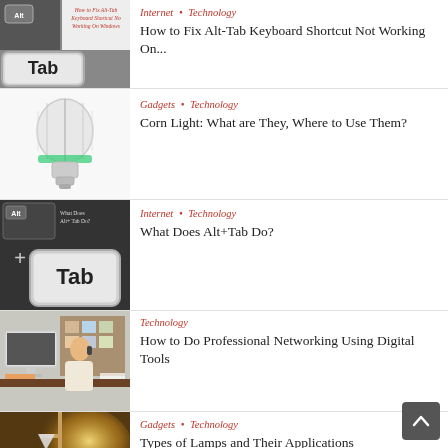[Figure (screenshot): Tab keyboard key image next to article thumbnail for Alt-Tab fix]
Internet · Technology
How to Fix Alt-Tab Keyboard Shortcut Not Working On...
[Figure (photo): Corn light LED bulb on white background]
Gadgets · Technology
Corn Light: What are They, Where to Use Them?
[Figure (screenshot): What Does Alt+Tab Do? keyboard image with Tab key]
Internet · Technology
What Does Alt+Tab Do?
[Figure (photo): Person at desk with Mac computer doing professional networking]
Technology
How to Do Professional Networking Using Digital Tools
[Figure (photo): Warm glowing lamp on wall]
Gadgets · Technology
Types of Lamps and Their Applications